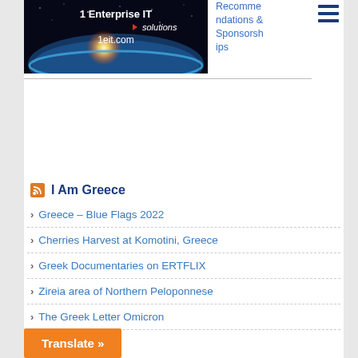[Figure (logo): 1 Enterprise IT Solutions banner with space/earth image and text '1 Enterprise IT Solutions 1eit.com']
Recomme ndations & Sponsorsh ips
[Figure (other): Hamburger menu icon (three horizontal blue lines)]
[Figure (other): Advertisement/empty area]
I Am Greece
Greece – Blue Flags 2022
Cherries Harvest at Komotini, Greece
Greek Documentaries on ERTFLIX
Zireia area of Northern Peloponnese
The Greek Letter Omicron
and
Translate »